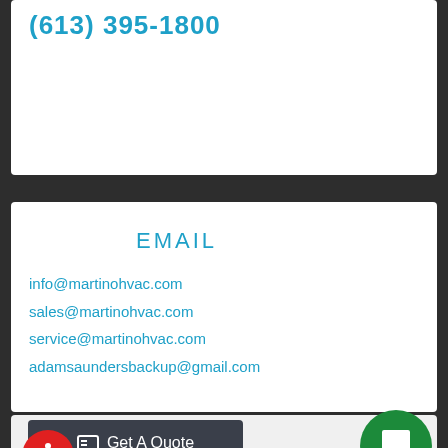(613) 395-1800
EMAIL
info@martinohvac.com
sales@martinohvac.com
service@martinohvac.com
adamsaundersbackup@gmail.com
Get A Quote